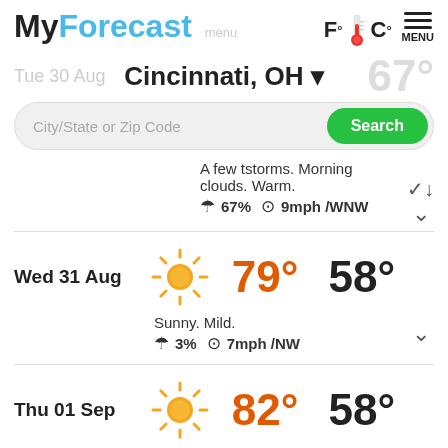MyForecast F°C° MENU
Cincinnati, OH
City/State or Zip Code Search
Tue 30 Aug 67°
A few tstorms. Morning clouds. Warm. ☂ 67% 🕐9mph /WNW
Wed 31 Aug 79° 58°
Sunny. Mild. ☂ 3% 🕐7mph /NW
Thu 01 Sep 82° 58°